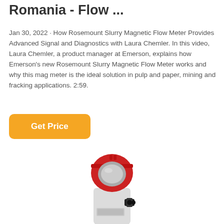Romania - Flow ...
Jan 30, 2022 · How Rosemount Slurry Magnetic Flow Meter Provides Advanced Signal and Diagnostics with Laura Chemler. In this video, Laura Chemler, a product manager at Emerson, explains how Emerson's new Rosemount Slurry Magnetic Flow Meter works and why this mag meter is the ideal solution in pulp and paper, mining and fracking applications. 2:59.
Get Price
[Figure (photo): Rosemount Slurry Magnetic Flow Meter product image — a white cylindrical flow meter body with a red circular housing/display head on top and black conduit connectors on the side.]